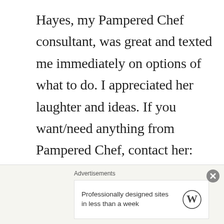Hayes, my Pampered Chef consultant, was great and texted me immediately on options of what to do. I appreciated her laughter and ideas. If you want/need anything from Pampered Chef, contact her: Faith Hayes, Pampered Chef
In texting with our sister-in-law, she mentioned how her and her husband
Advertisements
Professionally designed sites in less than a week